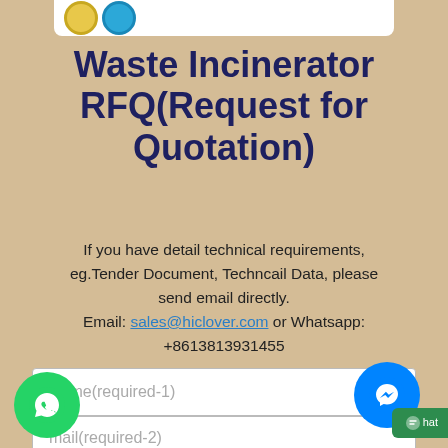[Figure (logo): Company logo with yellow and blue circles on white bar]
Waste Incinerator RFQ(Request for Quotation)
If you have detail technical requirements, eg.Tender Document, Techncail Data, please send email directly.
Email: sales@hiclover.com or Whatsapp: +8613813931455
Name(required-1)
mail(required-2)